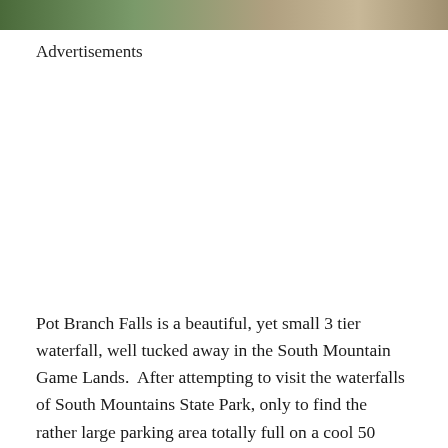[Figure (photo): Partial view of a nature/waterfall scene, cropped at the top of the page]
Advertisements
Pot Branch Falls is a beautiful, yet small 3 tier waterfall, well tucked away in the South Mountain Game Lands.  After attempting to visit the waterfalls of South Mountains State Park, only to find the rather large parking area totally full on a cool 50